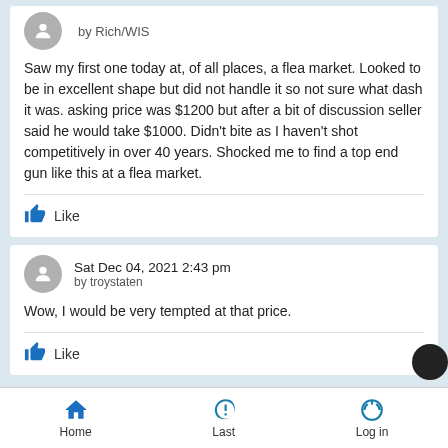by Rich/WIS
Saw my first one today at, of all places, a flea market.  Looked to be in excellent shape but did not handle it so not sure what dash it was.  asking price was $1200 but after a bit of discussion seller said he would take $1000.  Didn't bite as I haven't shot competitively in over 40 years.  Shocked me to find a top end gun like this at a flea market.
Like
Sat Dec 04, 2021 2:43 pm
by troystaten
Wow, I would be very tempted at that price.
Like
Home  Last  Log in